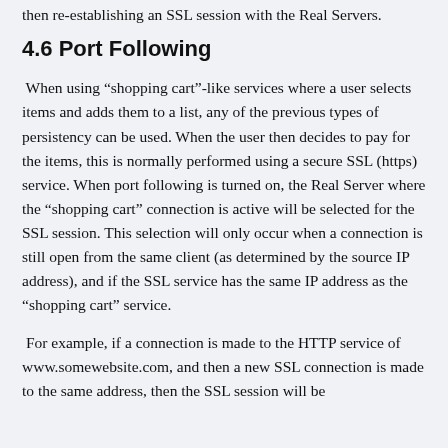then re-establishing an SSL session with the Real Servers.
4.6 Port Following
When using “shopping cart”-like services where a user selects items and adds them to a list, any of the previous types of persistency can be used. When the user then decides to pay for the items, this is normally performed using a secure SSL (https) service. When port following is turned on, the Real Server where the “shopping cart” connection is active will be selected for the SSL session. This selection will only occur when a connection is still open from the same client (as determined by the source IP address), and if the SSL service has the same IP address as the “shopping cart” service.
For example, if a connection is made to the HTTP service of www.somewebsite.com, and then a new SSL connection is made to the same address, then the SSL session will be